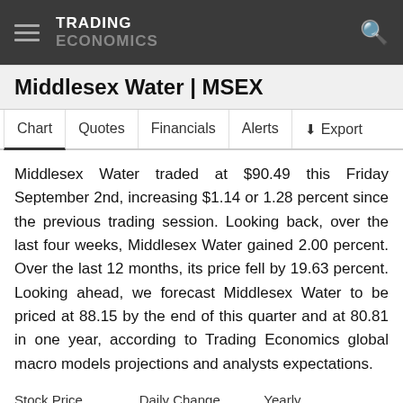TRADING ECONOMICS
Middlesex Water | MSEX
Chart  Quotes  Financials  Alerts  Export
Middlesex Water traded at $90.49 this Friday September 2nd, increasing $1.14 or 1.28 percent since the previous trading session. Looking back, over the last four weeks, Middlesex Water gained 2.00 percent. Over the last 12 months, its price fell by 19.63 percent. Looking ahead, we forecast Middlesex Water to be priced at 88.15 by the end of this quarter and at 80.81 in one year, according to Trading Economics global macro models projections and analysts expectations.
| Stock Price | Daily Change | Yearly |
| --- | --- | --- |
| 90.21 | ▲ 0.96% | ▼ -19.88% |